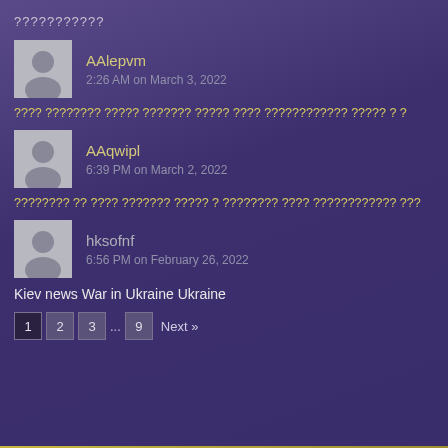???????????
AAlepvm
2:26 AM on March 3, 2022
???? ???????? ????? ??????? ????? ???? ???????????? ????? ? ?
AAqwipl
6:39 PM on March 2, 2022
???????? ?? ???? ??????? ????? ? ???????? ???? ???????????? ???
hksofnf
6:56 PM on February 26, 2022
Kiev news War in Ukraine Ukraine
1 2 3 ... 9 Next »